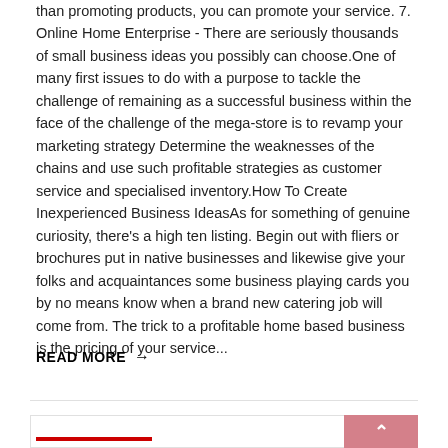than promoting products, you can promote your service. 7. Online Home Enterprise - There are seriously thousands of small business ideas you possibly can choose.One of many first issues to do with a purpose to tackle the challenge of remaining as a successful business within the face of the challenge of the mega-store is to revamp your marketing strategy Determine the weaknesses of the chains and use such profitable strategies as customer service and specialised inventory.How To Create Inexperienced Business IdeasAs for something of genuine curiosity, there's a high ten listing. Begin out with fliers or brochures put in native businesses and likewise give your folks and acquaintances some business playing cards you by no means know when a brand new catering job will come from. The trick to a profitable home based business is the pricing of your service...
Read More →